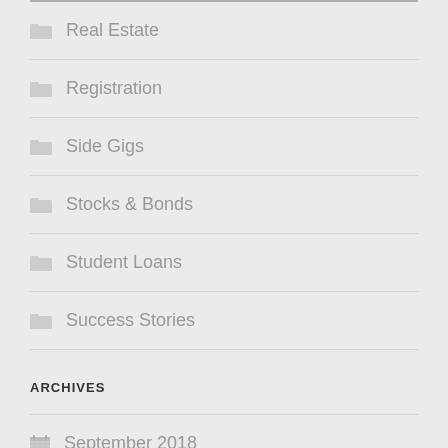Real Estate
Registration
Side Gigs
Stocks & Bonds
Student Loans
Success Stories
ARCHIVES
September 2018
March 2018